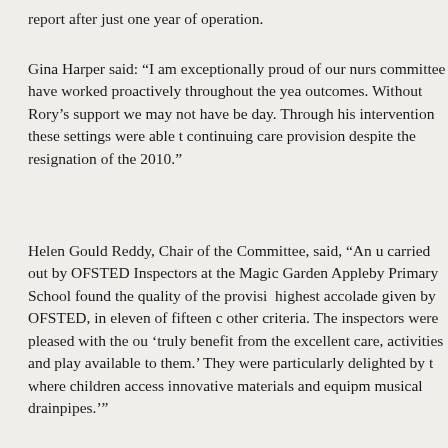report after just one year of operation.
Gina Harper said: “I am exceptionally proud of our nurs committee have worked proactively throughout the yea outcomes. Without Rory’s support we may not have be day. Through his intervention these settings were able t continuing care provision despite the resignation of the 2010.”
Helen Gould Reddy, Chair of the Committee, said, “An u carried out by OFSTED Inspectors at the Magic Garden Appleby Primary School found the quality of the provisi highest accolade given by OFSTED, in eleven of fifteen c other criteria. The inspectors were pleased with the ou ‘truly benefit from the excellent care, activities and play available to them.’ They were particularly delighted by t where children access innovative materials and equipm musical drainpipes.’”